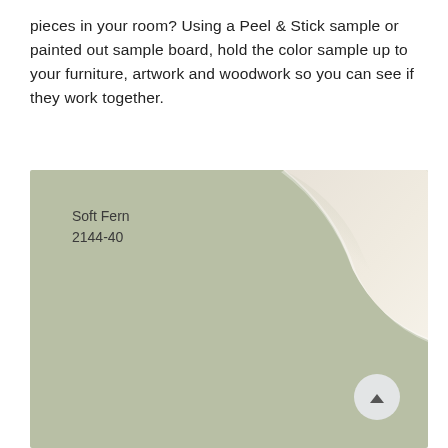pieces in your room? Using a Peel & Stick sample or painted out sample board, hold the color sample up to your furniture, artwork and woodwork so you can see if they work together.
[Figure (photo): A paint color swatch sample showing 'Soft Fern 2144-40', a muted sage green color, with the corner peeling back to reveal a white backing underneath. A scroll-up button is visible in the bottom right corner.]